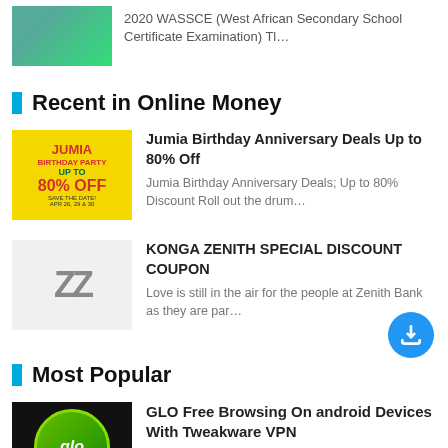2020 WASSCE (West African Secondary School Certificate Examination) Tl…
Recent in Online Money
Jumia Birthday Anniversary Deals Up to 80% Off
Jumia Birthday Anniversary Deals; Up to 80% Discount Roll out the drum…
KONGA ZENITH SPECIAL DISCOUNT COUPON
Love is still in the air for the people at Zenith Bank as they are par…
Most Popular
GLO Free Browsing On android Devices With Tweakware VPN